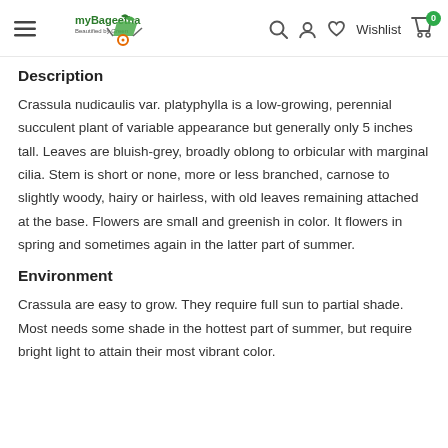myBageetha — Beautified by Green | Search | Account | Wishlist | Cart 0
Description
Crassula nudicaulis var. platyphylla is a low-growing, perennial succulent plant of variable appearance but generally only 5 inches tall. Leaves are bluish-grey, broadly oblong to orbicular with marginal cilia. Stem is short or none, more or less branched, carnose to slightly woody, hairy or hairless, with old leaves remaining attached at the base. Flowers are small and greenish in color. It flowers in spring and sometimes again in the latter part of summer.
Environment
Crassula are easy to grow. They require full sun to partial shade. Most needs some shade in the hottest part of summer, but require bright light to attain their most vibrant color.